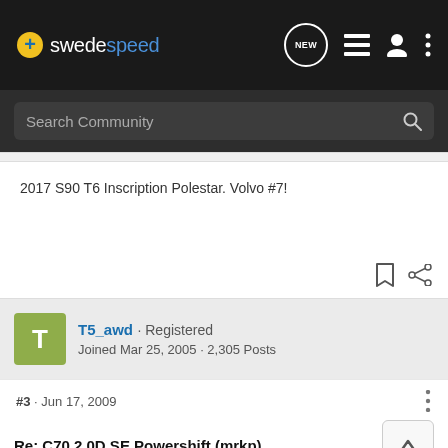swedespeed
2017 S90 T6 Inscription Polestar. Volvo #7!
T5_awd · Registered
Joined Mar 25, 2005 · 2,305 Posts
#3 · Jun 17, 2009
Re: C70 2.0D SE Powershift (mrkp)
Quote, originally posted by mrkp »
Ordered a C70 2.0 D Se Powershift in Magic Blue and Quartz